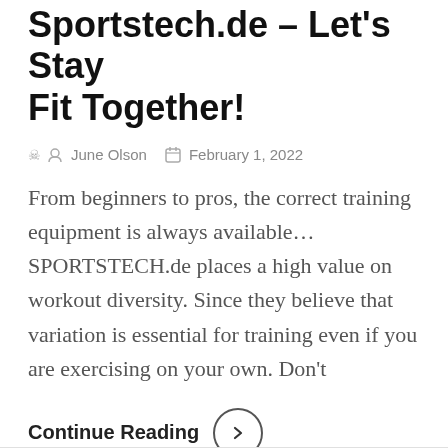Sportstech.de – Let's Stay Fit Together!
June Olson   February 1, 2022
From beginners to pros, the correct training equipment is always available… SPORTSTECH.de places a high value on workout diversity. Since they believe that variation is essential for training even if you are exercising on your own. Don't
Continue Reading